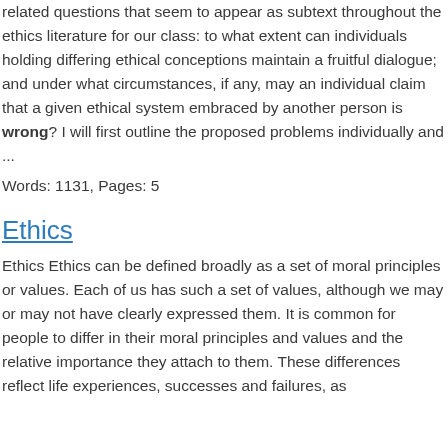related questions that seem to appear as subtext throughout the ethics literature for our class: to what extent can individuals holding differing ethical conceptions maintain a fruitful dialogue; and under what circumstances, if any, may an individual claim that a given ethical system embraced by another person is wrong? I will first outline the proposed problems individually and ...
Words: 1131, Pages: 5
Ethics
Ethics Ethics can be defined broadly as a set of moral principles or values. Each of us has such a set of values, although we may or may not have clearly expressed them. It is common for people to differ in their moral principles and values and the relative importance they attach to them. These differences reflect life experiences, successes and failures, as